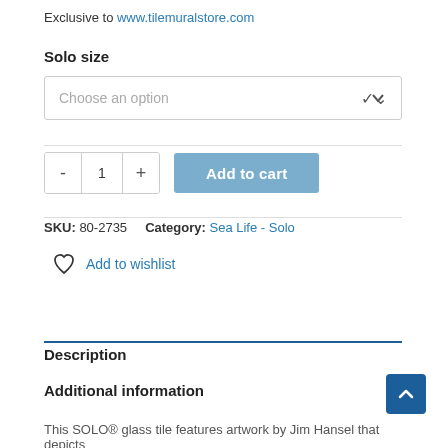Exclusive to www.tilemuralstore.com
Solo size
Choose an option
- 1 +   Add to cart
SKU: 80-2735   Category: Sea Life - Solo
Add to wishlist
Description
Additional information
This SOLO® glass tile features artwork by Jim Hansel that depicts